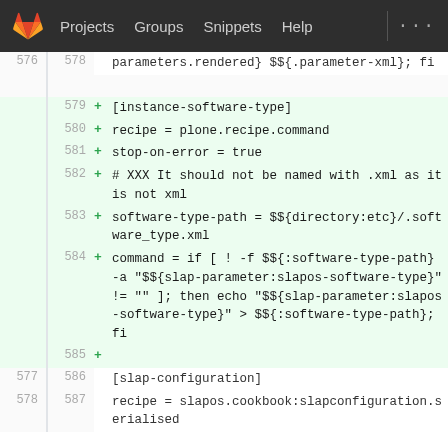Projects  Groups  Snippets  Help
[Figure (screenshot): GitLab diff viewer showing code lines 576-587, with lines 579-585 marked as added (green). Code includes configuration for [instance-software-type] block with recipe, stop-on-error, software-type-path, and command settings, followed by [slap-configuration] section.]